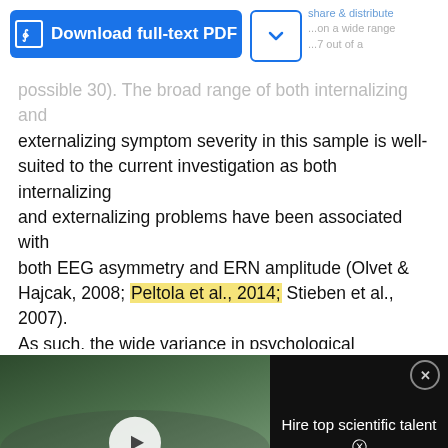[Figure (screenshot): Download full-text PDF button (blue) and a dropdown chevron button, with faint partially visible text to the right]
possible 30). The broad range of both internalizing and externalizing symptom severity in this sample is well-suited to the current investigation as both internalizing and externalizing problems have been associated with both EEG asymmetry and ERN amplitude (Olvet & Hajcak, 2008; Peltola et al., 2014; Stieben et al., 2007). As such, the wide variance in psychological symptoms should ensure substantial variance in these psychophysiological markers. ...
[Figure (photo): Video thumbnail showing scientists in lab coats with overlay text HIRE TOP SCIENTIFIC TALENT WITH RESEARCHGATE and a play button]
Hire top scientific talent with ResearchGate
[Figure (photo): Neurobiology Handbook book cover ad by ThermoFisher Scientific]
Neurobiology Handbook